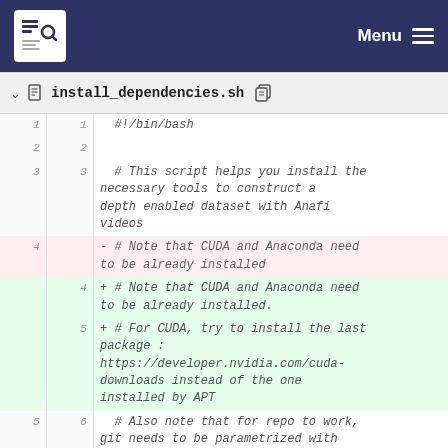Menu
install_dependencies.sh
| old ln | new ln | code |
| --- | --- | --- |
| 1 | 1 | #!/bin/bash |
| 2 | 2 |  |
| 3 | 3 | # This script helps you install the necessary tools to construct a depth enabled dataset with Anafi videos |
| 4 |  | - # Note that CUDA and Anaconda need to be already installed |
|  | 4 | + # Note that CUDA and Anaconda need to be already installed. |
|  | 5 | + # For CUDA, try to install the last package : https://developer.nvidia.com/cuda-downloads instead of the one installed by APT |
| 5 | 6 | # Also note that for repo to work, git needs to be parametrized with email and name. |
|  | 7 | + # It has been tested with Ubuntu |